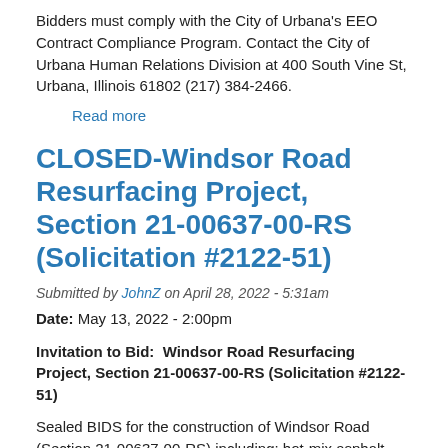Bidders must comply with the City of Urbana's EEO Contract Compliance Program. Contact the City of Urbana Human Relations Division at 400 South Vine St, Urbana, Illinois 61802 (217) 384-2466.
Read more
CLOSED-Windsor Road Resurfacing Project, Section 21-00637-00-RS (Solicitation #2122-51)
Submitted by JohnZ on April 28, 2022 - 5:31am
Date: May 13, 2022 - 2:00pm
Invitation to Bid:  Windsor Road Resurfacing Project, Section 21-00637-00-RS (Solicitation #2122-51)
Sealed BIDS for the construction of Windsor Road (Section 21-00637-00-RS) including: hot-mix asphalt surface removal and replacement, new aggregate wedge shoulders, detector loop replacement that will be received by the City of Urbana at the Public Works Department, 706 South Glover, Urbana, Illinois 61802